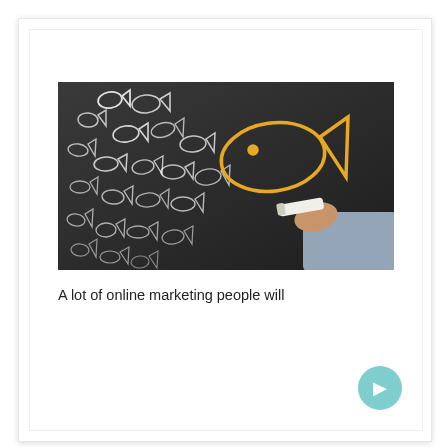[Figure (photo): Photograph of a chalkboard with many small white chalk-drawn fish symbols on the left and one large golden/yellow fish on the right, with a hand holding chalk. Suggests standing out from the crowd concept.]
A lot of online marketing people will